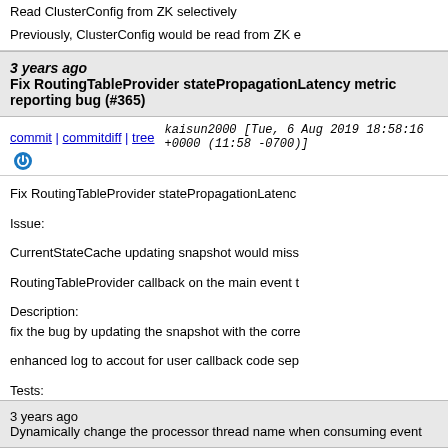Read ClusterConfig from ZK selectively

Previously, ClusterConfig would be read from ZK e
3 years ago   Fix RoutingTableProvider statePropagationLatency metric reporting bug (#365)
commit | commitdiff | tree   kaisun2000 [Tue, 6 Aug 2019 18:58:16 +0000 (11:58 -0700)]
Fix RoutingTableProvider statePropagationLatenc

Issue:

CurrentStateCache updating snapshot would miss

RoutingTableProvider callback on the main event t

Description:
fix the bug by updating the snapshot with the corre

enhanced log to accout for user callback code sep

Tests:
mvn test passed.
3 years ago   Dynamically change the processor thread name when consuming event